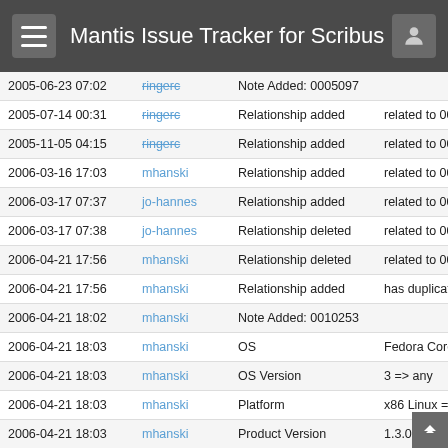Mantis Issue Tracker for Scribus
| Date | Username | Field | Change |
| --- | --- | --- | --- |
| 2005-06-23 07:02 | ringerc | Note Added: 0005097 |  |
| 2005-07-14 00:31 | ringerc | Relationship added | related to 0001132 |
| 2005-11-05 04:15 | ringerc | Relationship added | related to 0002793 |
| 2006-03-16 17:03 | mhanski | Relationship added | related to 0003451 |
| 2006-03-17 07:37 | jo-hannes | Relationship added | related to 0003448 |
| 2006-03-17 07:38 | jo-hannes | Relationship deleted | related to 0003448 |
| 2006-04-21 17:56 | mhanski | Relationship deleted | related to 0003451 |
| 2006-04-21 17:56 | mhanski | Relationship added | has duplicate 0003451 |
| 2006-04-21 18:02 | mhanski | Note Added: 0010253 |  |
| 2006-04-21 18:03 | mhanski | OS | Fedora Core => any |
| 2006-04-21 18:03 | mhanski | OS Version | 3 => any |
| 2006-04-21 18:03 | mhanski | Platform | x86 Linux => any |
| 2006-04-21 18:03 | mhanski | Product Version | 1.3.0cvs => 1.3 |
| 2006-04-26 14:25 | mhanski | Relationship added | related to 0001172 |
| 2006-05-18 18:16 | christoph_s | Relationship added | related to 0003837 |
| 2009-07-15 11:35 | aliB | Note Added: 0022189 |  |